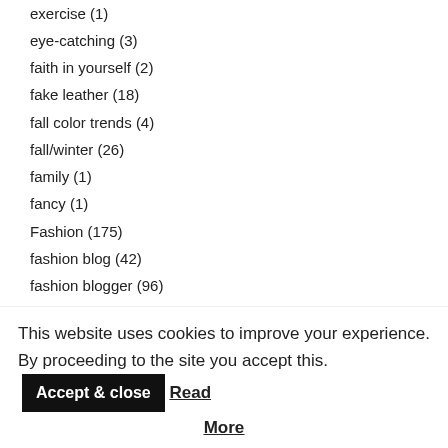exercise (1)
eye-catching (3)
faith in yourself (2)
fake leather (18)
fall color trends (4)
fall/winter (26)
family (1)
fancy (1)
Fashion (175)
fashion blog (42)
fashion blogger (96)
fashion designer (6)
Fashion in Dubai (6)
fashion inspired (74)
fashion show (3)
This website uses cookies to improve your experience. By proceeding to the site you accept this. Accept & close Read More